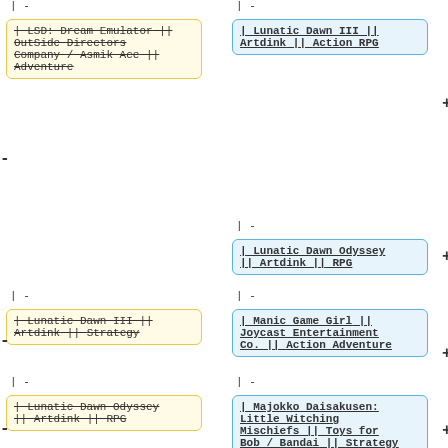| -
| LSD: Dream Emulator || OutSide Directors Company / Asmik Ace || Adventure (removed)
| -
| Lunatic Dawn III || Artdink || Strategy (removed)
| -
| Lunatic Dawn Odyssey || Artdink || RPG (removed)
| -
| Lunatic Dawn III || Artdink || Action RPG (added)
+ | -
| Lunatic Dawn Odyssey || Artdink || RPG (added)
| -
| Manic Game Girl || Joycast Entertainment Co. || Action Adventure (added)
| -
| Majokko Daisakusen: Little Witching Mischiefs || Toys for Bob / Bandai || Strategy (added)